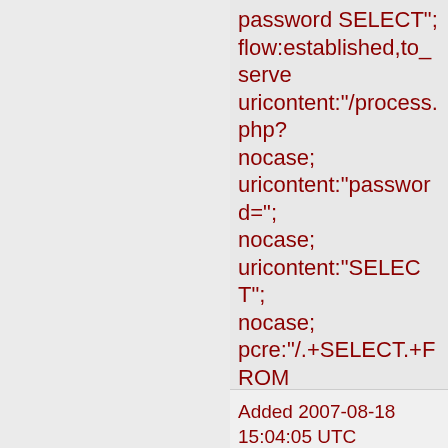password SELECT"; flow:established,to_server; uricontent:"/process.php? nocase; uricontent:"password="; nocase; uricontent:"SELECT"; nocase; pcre:"/.+SELECT.+FROM classtype:web-application-attack; reference:cve,CVE-2006-6215; reference:url,www.frsirt.co sid:2006981; rev:2;)
Added 2007-08-18 15:04:05 UTC